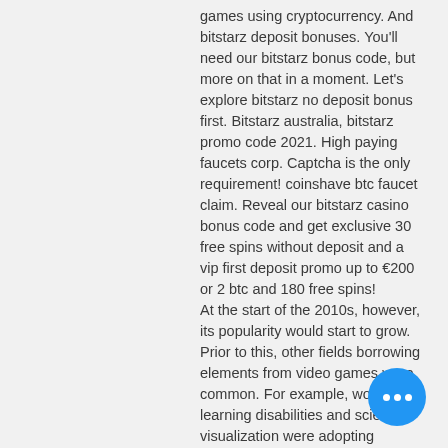games using cryptocurrency. And bitstarz deposit bonuses. You'll need our bitstarz bonus code, but more on that in a moment. Let's explore bitstarz no deposit bonus first. Bitstarz australia, bitstarz promo code 2021. High paying faucets corp. Captcha is the only requirement! coinshave btc faucet claim. Reveal our bitstarz casino bonus code and get exclusive 30 free spins without deposit and a vip first deposit promo up to €200 or 2 btc and 180 free spins! At the start of the 2010s, however, its popularity would start to grow. Prior to this, other fields borrowing elements from video games were common. For example, work in learning disabilities and scientific visualization were adopting elements from video games. The initial strategies of gamification use rewards for players who complete tasks as a means to engage players, bitstarz bonus codes 2021.
[Figure (other): Blue circular chat/menu button with three white dots (ellipsis) in the bottom-right corner of the page.]